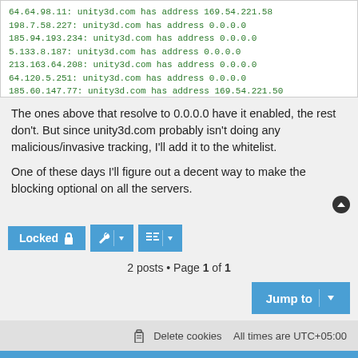[Figure (screenshot): Code block showing DNS resolution output with green monospace text listing IP addresses resolving unity3d.com to various addresses including 0.0.0.0]
The ones above that resolve to 0.0.0.0 have it enabled, the rest don't. But since unity3d.com probably isn't doing any malicious/invasive tracking, I'll add it to the whitelist.
One of these days I'll figure out a decent way to make the blocking optional on all the servers.
[Figure (screenshot): Forum toolbar with Locked button, tool buttons, and pagination showing 2 posts Page 1 of 1, Jump to button, footer with Delete cookies and timezone, and blue footer with Twitter and GitHub icons]